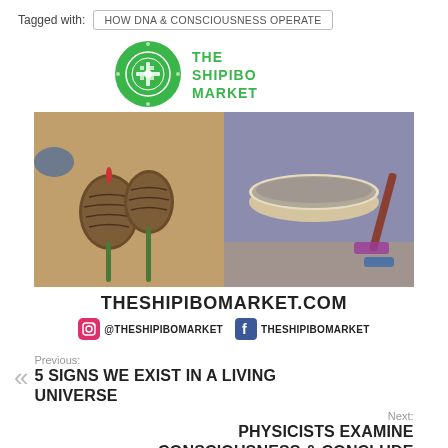Tagged with: HOW DNA & CONSCIOUSNESS OPERATE
[Figure (logo): The Shipibo Market logo: green circular patterned emblem with green text 'THE SHIPIBO MARKET' to the right]
[Figure (photo): Two-panel photo strip: left panel shows decorated gourd rattles/maracas on a wooden surface; right panel shows a bowl of powder on a patterned cloth with colorful items nearby]
THESHIPIBOMARKET.COM
@THESHIPIBOMARKET   THESHIPIBOMARKET
Previous: 5 SIGNS WE EXIST IN A LIVING UNIVERSE
Next: PHYSICISTS EXAMINE CONSCIOUSNESS & CONCLUDE THE UNIVERSE IS 'SPIRITUAL,